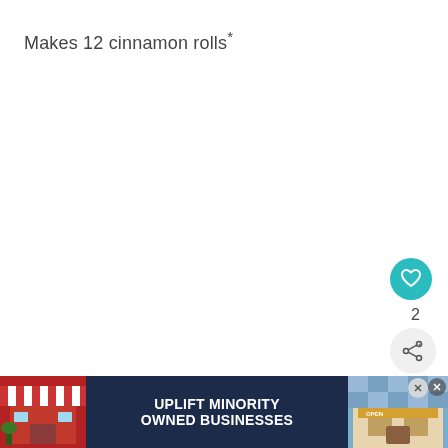Makes 12 cinnamon rolls*
[Figure (other): Heart/favorite button (teal circle with heart icon) with count of 2 below it, and a share button (light circle with share icon)]
[Figure (other): What's Next card showing a thumbnail of Oreo Crunch Brownies with label 'WHAT'S NEXT →' and title 'Oreo Crunch Brownies wi...']
Ingredients
[Figure (other): Advertisement banner: 'UPLIFT MINORITY OWNED BUSINESSES' with storefront illustration on dark navy background, close buttons on right]